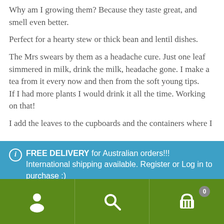Why am I growing them? Because they taste great, and smell even better.
Perfect for a hearty stew or thick bean and lentil dishes.
The Mrs swears by them as a headache cure. Just one leaf simmered in milk, drink the milk, headache gone. I make a tea from it every now and then from the soft young tips.
If I had more plants I would drink it all the time. Working on that!
I add the leaves to the cupboards and the containers where I
FREE DELIVERY for Australian orders!!! International shipping available. Register or Log in to purchase :)
Dismiss